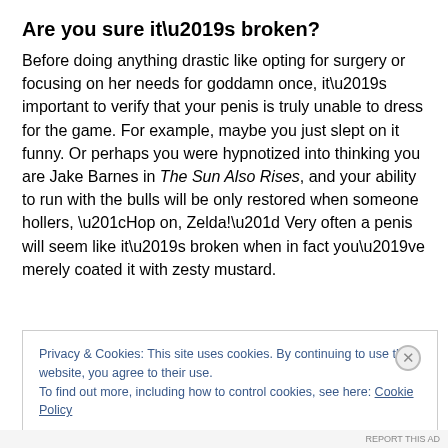Are you sure it’s broken?
Before doing anything drastic like opting for surgery or focusing on her needs for goddamn once, it’s important to verify that your penis is truly unable to dress for the game. For example, maybe you just slept on it funny. Or perhaps you were hypnotized into thinking you are Jake Barnes in The Sun Also Rises, and your ability to run with the bulls will be only restored when someone hollers, “Hop on, Zelda!” Very often a penis will seem like it’s broken when in fact you’ve merely coated it with zesty mustard.
Privacy & Cookies: This site uses cookies. By continuing to use this website, you agree to their use.
To find out more, including how to control cookies, see here: Cookie Policy
Close and accept